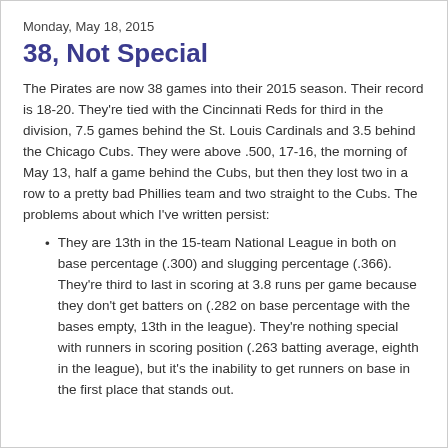Monday, May 18, 2015
38, Not Special
The Pirates are now 38 games into their 2015 season. Their record is 18-20. They're tied with the Cincinnati Reds for third in the division, 7.5 games behind the St. Louis Cardinals and 3.5 behind the Chicago Cubs. They were above .500, 17-16, the morning of May 13, half a game behind the Cubs, but then they lost two in a row to a pretty bad Phillies team and two straight to the Cubs. The problems about which I've written persist:
They are 13th in the 15-team National League in both on base percentage (.300) and slugging percentage (.366). They're third to last in scoring at 3.8 runs per game because they don't get batters on (.282 on base percentage with the bases empty, 13th in the league). They're nothing special with runners in scoring position (.263 batting average, eighth in the league), but it's the inability to get runners on base in the first place that stands out.